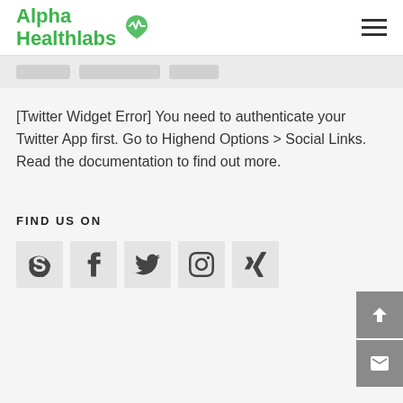Alpha Healthlabs
[Figure (screenshot): Breadcrumb navigation bar with three grey pill shapes]
[Twitter Widget Error] You need to authenticate your Twitter App first. Go to Highend Options > Social Links. Read the documentation to find out more.
FIND US ON
[Figure (infographic): Five social media icon boxes: Skype, Facebook, Twitter, Instagram, Xing]
[Figure (infographic): Two grey action buttons: scroll-to-top arrow and mail envelope]